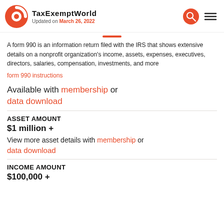TaxExemptWorld — Updated on March 26, 2022
A form 990 is an information return filed with the IRS that shows extensive details on a nonprofit organization's income, assets, expenses, executives, directors, salaries, compensation, investments, and more
form 990 instructions
Available with membership or
data download
ASSET AMOUNT
$1 million +
View more asset details with membership or
data download
INCOME AMOUNT
$100,000 +